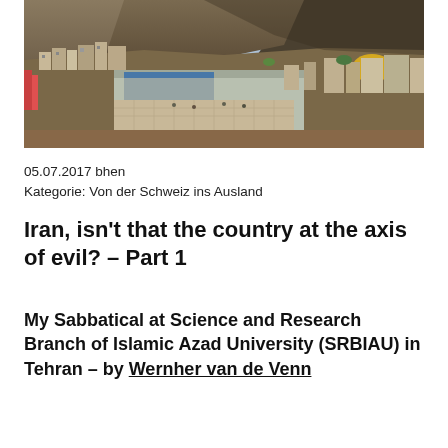[Figure (photo): Aerial view of an Iranian hillside town with buildings, a large blue-roofed structure, rocky mountains in the background, and a golden dome visible on the right side.]
05.07.2017 bhen
Kategorie: Von der Schweiz ins Ausland
Iran, isn't that the country at the axis of evil? – Part 1
My Sabbatical at Science and Research Branch of Islamic Azad University (SRBIAU) in Tehran – by Wernher van de Venn